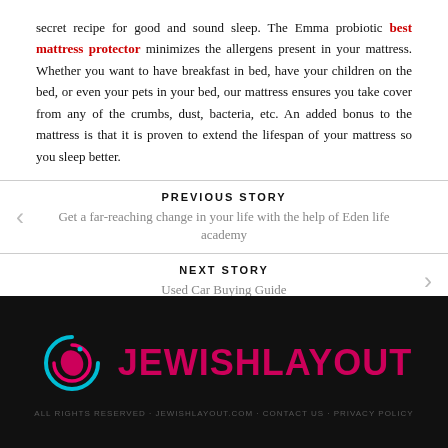secret recipe for good and sound sleep. The Emma probiotic best mattress protector minimizes the allergens present in your mattress. Whether you want to have breakfast in bed, have your children on the bed, or even your pets in your bed, our mattress ensures you take cover from any of the crumbs, dust, bacteria, etc. An added bonus to the mattress is that it is proven to extend the lifespan of your mattress so you sleep better.
PREVIOUS STORY
Get a far-reaching change in your life with the help of Eden life academy
NEXT STORY
Used Car Buying Guide
[Figure (logo): JewishLayout logo: cyan and pink crescent/spiral icon on dark background with JEWISHLAYOUT in pink/red letters]
footer tagline text (partially visible)